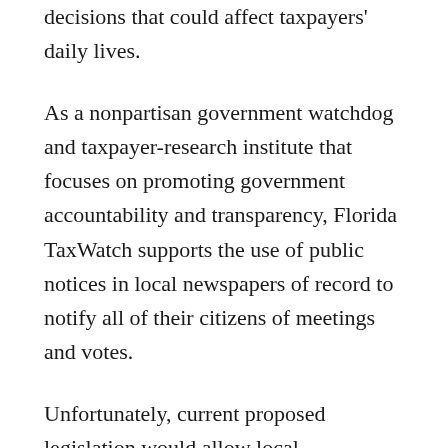decisions that could affect taxpayers' daily lives.
As a nonpartisan government watchdog and taxpayer-research institute that focuses on promoting government accountability and transparency, Florida TaxWatch supports the use of public notices in local newspapers of record to notify all of their citizens of meetings and votes.
Unfortunately, current proposed legislation would allow local government websites to be the only required source for public-notice